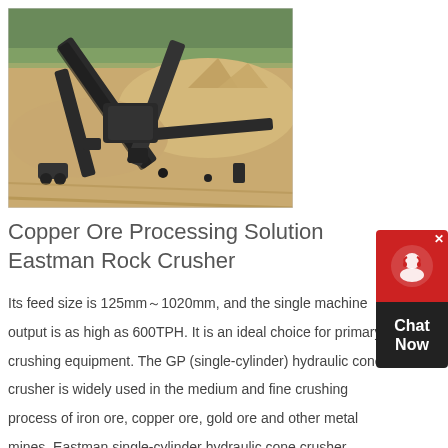[Figure (photo): Aerial view of a rock crushing and conveyor belt machinery operation at a mining or quarry site, with sand/gravel piles and industrial equipment visible.]
Copper Ore Processing Solution Eastman Rock Crusher
Its feed size is 125mm～1020mm, and the single machine output is as high as 600TPH. It is an ideal choice for primary crushing equipment. The GP (single-cylinder) hydraulic cone crusher is widely used in the medium and fine crushing process of iron ore, copper ore, gold ore and other metal mines. Eastman single-cylinder hydraulic cone crusher
Contact